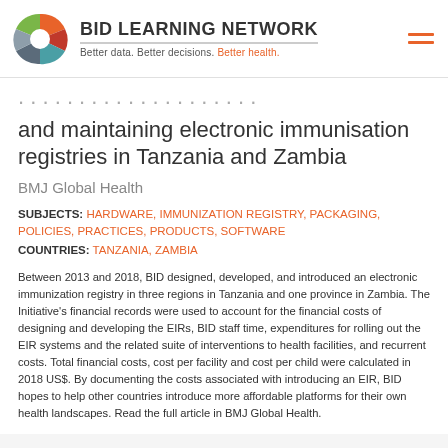BID LEARNING NETWORK — Better data. Better decisions. Better health.
…and maintaining electronic immunisation registries in Tanzania and Zambia
BMJ Global Health
SUBJECTS: HARDWARE, IMMUNIZATION REGISTRY, PACKAGING, POLICIES, PRACTICES, PRODUCTS, SOFTWARE
COUNTRIES: TANZANIA, ZAMBIA
Between 2013 and 2018, BID designed, developed, and introduced an electronic immunization registry in three regions in Tanzania and one province in Zambia. The Initiative's financial records were used to account for the financial costs of designing and developing the EIRs, BID staff time, expenditures for rolling out the EIR systems and the related suite of interventions to health facilities, and recurrent costs. Total financial costs, cost per facility and cost per child were calculated in 2018 US$. By documenting the costs associated with introducing an EIR, BID hopes to help other countries introduce more affordable platforms for their own health landscapes. Read the full article in BMJ Global Health.